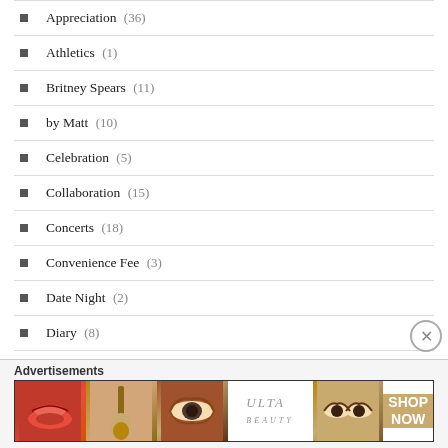Appreciation (36)
Athletics (1)
Britney Spears (11)
by Matt (10)
Celebration (5)
Collaboration (15)
Concerts (18)
Convenience Fee (3)
Date Night (2)
Diary (8)
dolls kill (8)
Empowerment (19)
Advertisements
[Figure (illustration): Ulta Beauty advertisement banner showing makeup-themed photos (lips, brush, eye, Ulta logo, eyes) with SHOP NOW call to action]